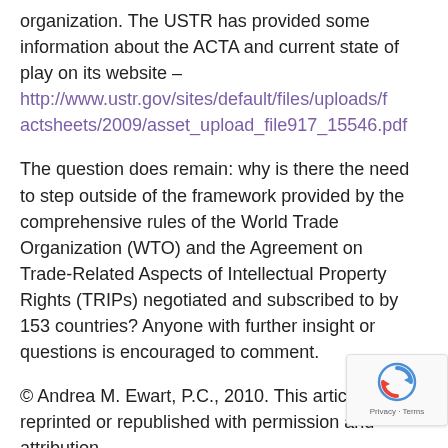organization. The USTR has provided some information about the ACTA and current state of play on its website – http://www.ustr.gov/sites/default/files/uploads/factsheets/2009/asset_upload_file917_15546.pdf
The question does remain: why is there the need to step outside of the framework provided by the comprehensive rules of the World Trade Organization (WTO) and the Agreement on Trade-Related Aspects of Intellectual Property Rights (TRIPs) negotiated and subscribed to by 153 countries? Anyone with further insight or questions is encouraged to comment.
© Andrea M. Ewart, P.C., 2010. This article may be reprinted or republished with permission and attribution.